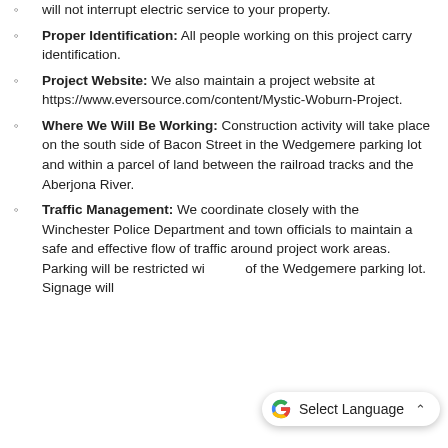will not interrupt electric service to your property.
Proper Identification: All people working on this project carry identification.
Project Website: We also maintain a project website at https://www.eversource.com/content/Mystic-Woburn-Project.
Where We Will Be Working: Construction activity will take place on the south side of Bacon Street in the Wedgemere parking lot and within a parcel of land between the railroad tracks and the Aberjona River.
Traffic Management: We coordinate closely with the Winchester Police Department and town officials to maintain a safe and effective flow of traffic around project work areas. Parking will be restricted wi... of the Wedgemere parking lot. Signage will